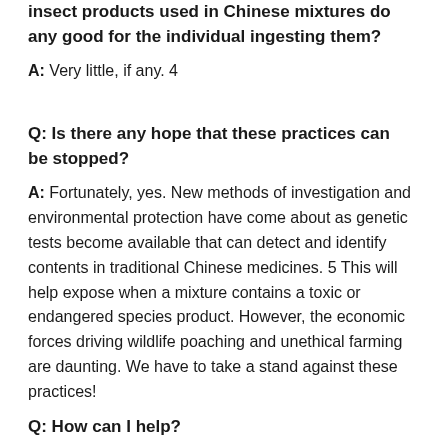insect products used in Chinese mixtures do any good for the individual ingesting them?
A: Very little, if any. 4
Q: Is there any hope that these practices can be stopped?
A: Fortunately, yes. New methods of investigation and environmental protection have come about as genetic tests become available that can detect and identify contents in traditional Chinese medicines. 5 This will help expose when a mixture contains a toxic or endangered species product. However, the economic forces driving wildlife poaching and unethical farming are daunting. We have to take a stand against these practices!
Q: How can I help?